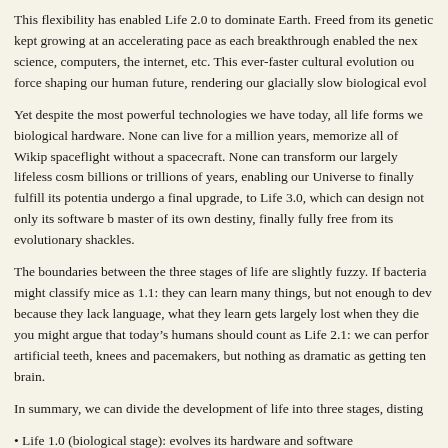This flexibility has enabled Life 2.0 to dominate Earth. Freed from its genetic kept growing at an accelerating pace as each breakthrough enabled the nex science, computers, the internet, etc. This ever-faster cultural evolution ou force shaping our human future, rendering our glacially slow biological evol
Yet despite the most powerful technologies we have today, all life forms we biological hardware. None can live for a million years, memorize all of Wikip spaceflight without a spacecraft. None can transform our largely lifeless cosm billions or trillions of years, enabling our Universe to finally fulfill its potentia undergo a final upgrade, to Life 3.0, which can design not only its software b master of its own destiny, finally fully free from its evolutionary shackles.
The boundaries between the three stages of life are slightly fuzzy. If bacteria might classify mice as 1.1: they can learn many things, but not enough to dev because they lack language, what they learn gets largely lost when they die you might argue that today’s humans should count as Life 2.1: we can perfor artificial teeth, knees and pacemakers, but nothing as dramatic as getting ten brain.
In summary, we can divide the development of life into three stages, disting
• Life 1.0 (biological stage): evolves its hardware and software
• Life 2.0 (cultural stage): evolves its hardware, designs much of its software